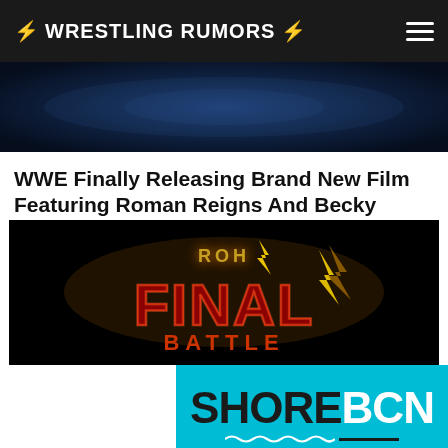⚡ WRESTLING RUMORS ⚡
[Figure (photo): WWE Studios logo banner with text 'STUDIOS' on a dark blue background]
WWE Finally Releasing Brand New Film Featuring Roman Reigns And Becky Lynch
NEWS
[Figure (logo): ROH Final Battle logo on black background with stylized red and gold lettering with lightning bolt graphic]
[Figure (logo): Shore BCN banner on cyan/turquoise background with bold black and white lettering and wave underline]